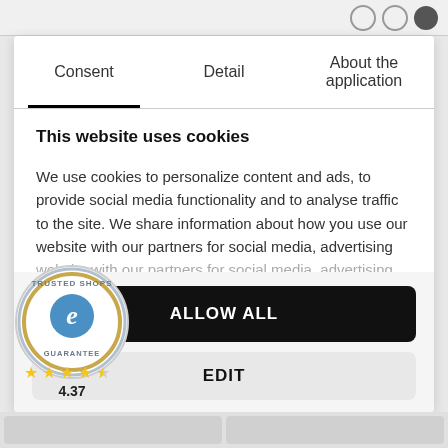Consent | Detail | About the application
This website uses cookies
We use cookies to personalize content and ads, to provide social media functionality and to analyse traffic to the site. We share information about how you use our website with our partners for social media, advertising
ALLOW ALL
EDIT
[Figure (logo): Trusted Shops guarantee badge with 'e' logo, 4 filled stars and 1 half star, rating 4.37]